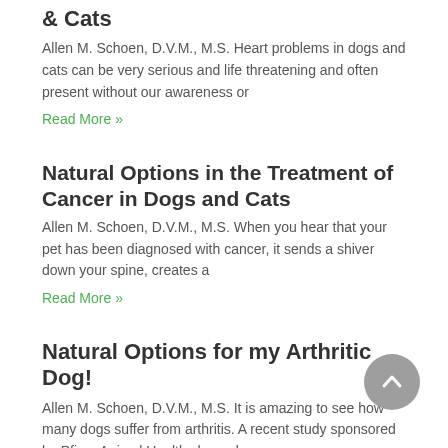& Cats
Allen M. Schoen, D.V.M., M.S. Heart problems in dogs and cats can be very serious and life threatening and often present without our awareness or
Read More »
Natural Options in the Treatment of Cancer in Dogs and Cats
Allen M. Schoen, D.V.M., M.S. When you hear that your pet has been diagnosed with cancer, it sends a shiver down your spine, creates a
Read More »
Natural Options for my Arthritic Dog!
Allen M. Schoen, D.V.M., M.S. It is amazing to see how many dogs suffer from arthritis. A recent study sponsored by Pfizer Animal Health showed
Read More »